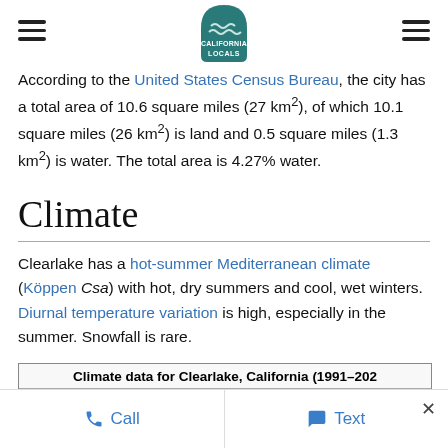California Locals (logo)
According to the United States Census Bureau, the city has a total area of 10.6 square miles (27 km²), of which 10.1 square miles (26 km²) is land and 0.5 square miles (1.3 km²) is water. The total area is 4.27% water.
Climate
Clearlake has a hot-summer Mediterranean climate (Köppen Csa) with hot, dry summers and cool, wet winters. Diurnal temperature variation is high, especially in the summer. Snowfall is rare.
| Month | Jan | Feb | Mar | Apr | May | Jun |
| --- | --- | --- | --- | --- | --- | --- |
Call   Text